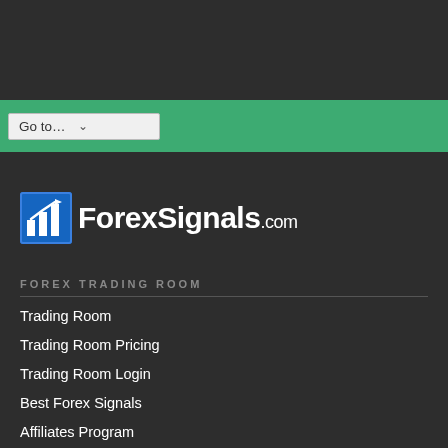[Figure (logo): ForexSignals.com logo with bar chart icon and white text]
FOREX TRADING ROOM
Trading Room
Trading Room Pricing
Trading Room Login
Best Forex Signals
Affiliates Program
Trade Ideas